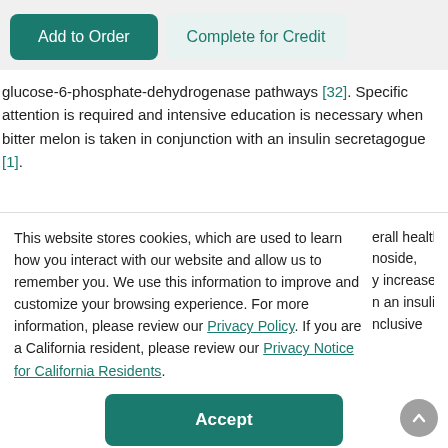[Figure (screenshot): Two UI buttons: 'Add to Order' (teal/green filled) and 'Complete for Credit' (light teal outlined)]
glucose-6-phosphate-dehydrogenase pathways [32]. Specific attention is required and intensive education is necessary when bitter melon is taken in conjunction with an insulin secretagogue [1].
This website stores cookies, which are used to learn how you interact with our website and allow us to remember you. We use this information to improve and customize your browsing experience. For more information, please review our Privacy Policy. If you are a California resident, please review our Privacy Notice for California Residents.
erall health noside, y increase n an insulin nclusive
[Figure (screenshot): Accept button (teal/green) and scroll-to-top circular grey button]
Nopal